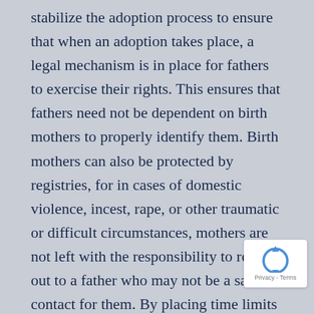stabilize the adoption process to ensure that when an adoption takes place, a legal mechanism is in place for fathers to exercise their rights. This ensures that fathers need not be dependent on birth mothers to properly identify them. Birth mothers can also be protected by registries, for in cases of domestic violence, incest, rape, or other traumatic or difficult circumstances, mothers are not left with the responsibility to reach out to a father who may not be a safe contact for them. By placing time limits on a putative father's opportunity to assert his rights, these laws ensure that a child's legal status does not remain undetermined for an unreasonable amount of time, helping to promote stability and security for
[Figure (logo): reCAPTCHA badge with rotating arrows logo and Privacy - Terms text]